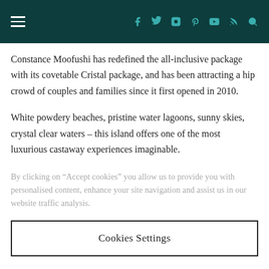Navigation header with hamburger menu and social/utility icons
Constance Moofushi has redefined the all-inclusive package with its covetable Cristal package, and has been attracting a hip crowd of couples and families since it first opened in 2010.
White powdery beaches, pristine water lagoons, sunny skies, crystal clear waters – this island offers one of the most luxurious castaway experiences imaginable.
By clicking on “Accept cookies” you allow us to provide you with personalised content, enhance your site navigation and assist us in our website traffic analysis.
Cookies Settings